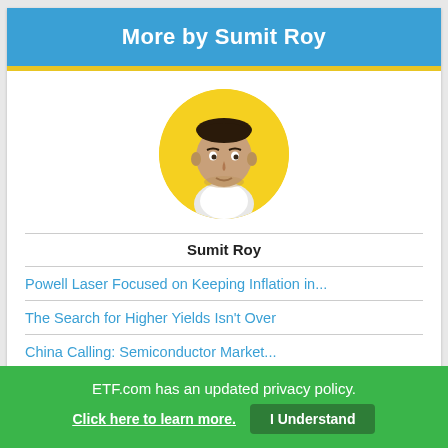More by Sumit Roy
[Figure (illustration): Illustrated avatar portrait of Sumit Roy — a stylized cartoon of a man with dark hair against a yellow circular background]
Sumit Roy
Powell Laser Focused on Keeping Inflation in...
The Search for Higher Yields Isn't Over
China Calling: Semiconductor Market...
Weekly ETF Inflows Total $12B
ETFs With Global Exposure Offer the Lowest
ETF.com has an updated privacy policy.
Click here to learn more.   I Understand